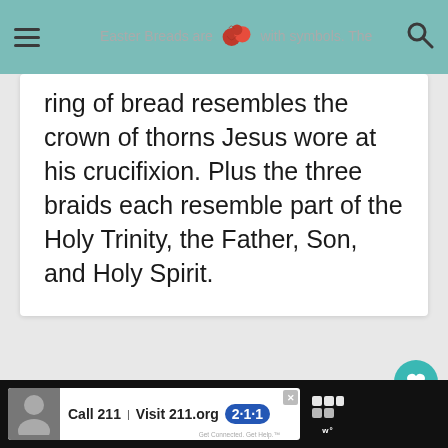Easter Breads are … with symbols. The
ring of bread resembles the crown of thorns Jesus wore at his crucifixion. Plus the three braids each resemble part of the Holy Trinity, the Father, Son, and Holy Spirit.
[Figure (screenshot): Heart/like button (teal circle with heart icon), count label 1.8K, share button (white circle with share icon)]
[Figure (infographic): What's Next panel with thumbnail image of Finnish Pulla Bread and arrow label]
[Figure (screenshot): Advertisement bar: Call 211 Visit 211.org with 2-1-1 badge logo]